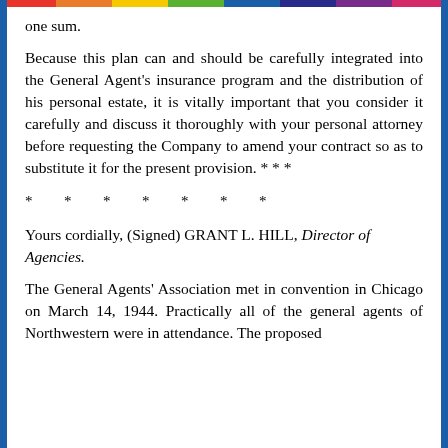one sum.
Because this plan can and should be carefully integrated into the General Agent's insurance program and the distribution of his personal estate, it is vitally important that you consider it carefully and discuss it thoroughly with your personal attorney before requesting the Company to amend your contract so as to substitute it for the present provision. * * *
* * * * * * *
Yours cordially, (Signed) GRANT L. HILL, Director of Agencies.
The General Agents' Association met in convention in Chicago on March 14, 1944. Practically all of the general agents of Northwestern were in attendance. The proposed